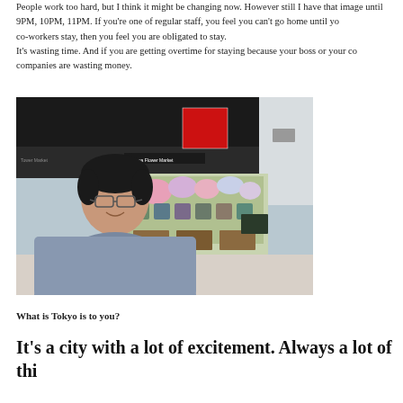People work too hard, but I think it might be changing now. However still I have that image until 9PM, 10PM, 11PM. If you're one of regular staff, you feel you can't go home until your co-workers stay, then you feel you are obligated to stay. It's wasting time. And if you are getting overtime for staying because your boss or your co-workers are wasting money.
[Figure (photo): A man in a light blue polo shirt smiling and looking upward, standing in front of what appears to be the Aoyama Flower Market shop entrance with flower displays visible behind him.]
What is Tokyo is to you?
It's a city with a lot of excitement. Always a lot of thi...